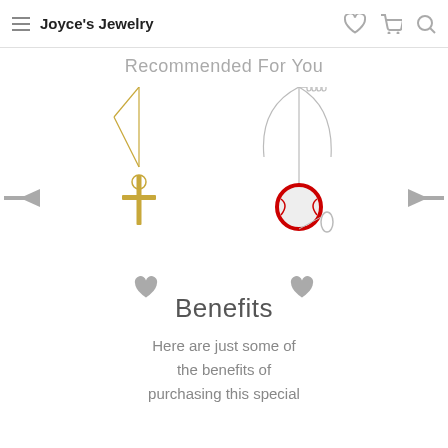Joyce's Jewelry
Recommended For You
[Figure (photo): Gold cross necklace with thin chain on white background]
[Figure (photo): Silver necklace with red and silver baseball charm on white background]
Benefits
Here are just some of the benefits of purchasing this special